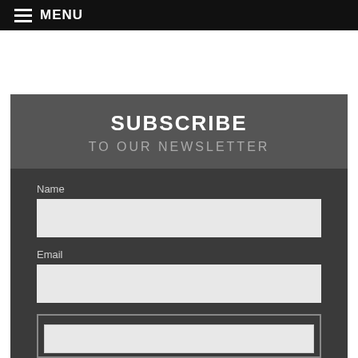MENU
SUBSCRIBE
TO OUR NEWSLETTER
Name
Email
Subscribe